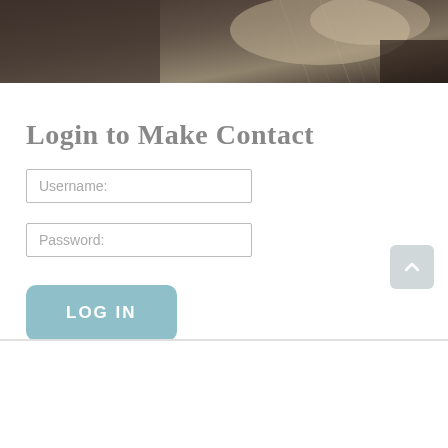[Figure (photo): Close-up photo of a light-colored animal (cat or similar), dark moody tones, fills the top banner area]
Login to Make Contact
Username:
Password:
LOG IN